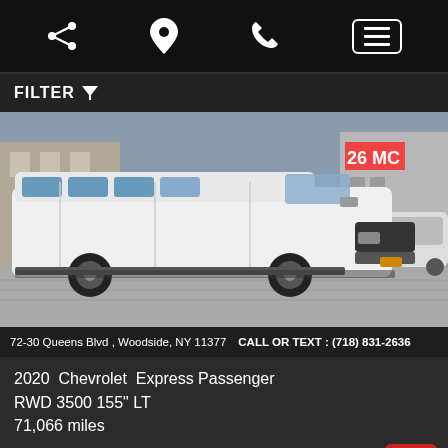Navigation bar with share, location, phone, and menu icons
FILTER
[Figure (photo): White 2020 Chevrolet Express Passenger van photographed from the side in a parking lot/street setting. A building with '26 MC' signage is visible in the background along with another vehicle.]
72-30 Queens Blvd , Woodside, NY 11377  CALL OR TEXT : (718) 831-2636
2020  Chevrolet  Express Passenger RWD 3500 155" LT
71,066 miles
Online Special
$39,695